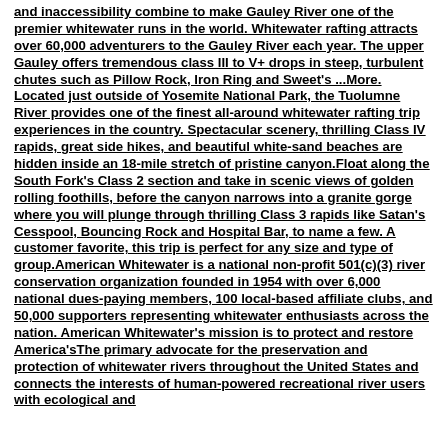and inaccessibility combine to make Gauley River one of the premier whitewater runs in the world. Whitewater rafting attracts over 60,000 adventurers to the Gauley River each year. The upper Gauley offers tremendous class III to V+ drops in steep, turbulent chutes such as Pillow Rock, Iron Ring and Sweet's ...More. Located just outside of Yosemite National Park, the Tuolumne River provides one of the finest all-around whitewater rafting trip experiences in the country. Spectacular scenery, thrilling Class IV rapids, great side hikes, and beautiful white-sand beaches are hidden inside an 18-mile stretch of pristine canyon.Float along the South Fork's Class 2 section and take in scenic views of golden rolling foothills, before the canyon narrows into a granite gorge where you will plunge through thrilling Class 3 rapids like Satan's Cesspool, Bouncing Rock and Hospital Bar, to name a few. A customer favorite, this trip is perfect for any size and type of group.American Whitewater is a national non-profit 501(c)(3) river conservation organization founded in 1954 with over 6,000 national dues-paying members, 100 local-based affiliate clubs, and 50,000 supporters representing whitewater enthusiasts across the nation. American Whitewater's mission is to protect and restore America'sThe primary advocate for the preservation and protection of whitewater rivers throughout the United States and connects the interests of human-powered recreational river users with ecological and